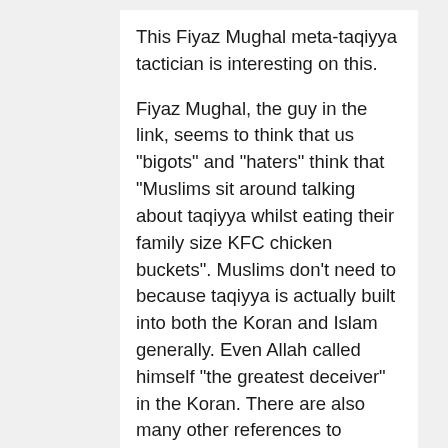This Fiyaz Mughal meta-taqiyya tactician is interesting on this.
Fiyaz Mughal, the guy in the link, seems to think that us "bigots" and "haters" think that "Muslims sit around talking about taqiyya whilst eating their family size KFC chicken buckets". Muslims don't need to because taqiyya is actually built into both the Koran and Islam generally. Even Allah called himself "the greatest deceiver" in the Koran. There are also many other references to Mohammed's own deceit. Muslims, on the whole, simply take it for granted that